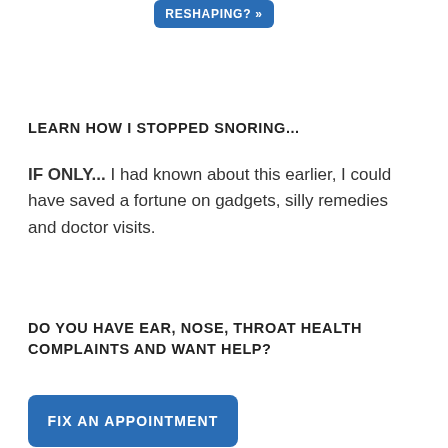[Figure (other): Blue button with white text reading 'RESHAPING? »' partially visible at top center]
LEARN HOW I STOPPED SNORING...
IF ONLY... I had known about this earlier, I could have saved a fortune on gadgets, silly remedies and doctor visits.
DO YOU HAVE EAR, NOSE, THROAT HEALTH COMPLAINTS AND WANT HELP?
[Figure (other): Blue button with white text reading 'FIX AN APPOINTMENT']